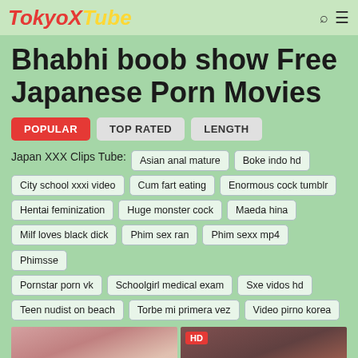TokyoXTube
Bhabhi boob show Free Japanese Porn Movies
POPULAR | TOP RATED | LENGTH
Japan XXX Clips Tube: Asian anal mature | Boke indo hd | City school xxxi video | Cum fart eating | Enormous cock tumblr | Hentai feminization | Huge monster cock | Maeda hina | Milf loves black dick | Phim sex ran | Phim sexx mp4 | Phimsse | Pornstar porn vk | Schoolgirl medical exam | Sxe vidos hd | Teen nudist on beach | Torbe mi primera vez | Video pirno korea
[Figure (photo): Two thumbnail images of women, one without badge and one with HD badge]